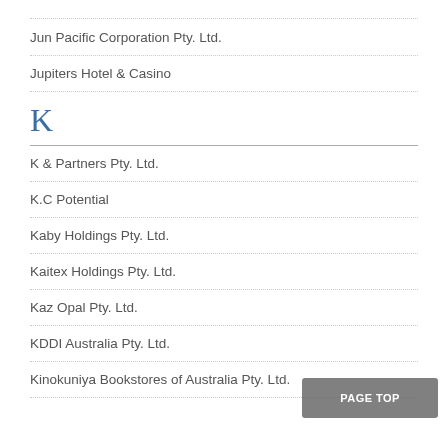Jun Pacific Corporation Pty. Ltd.
Jupiters Hotel & Casino
K
K & Partners Pty. Ltd.
K.C Potential
Kaby Holdings Pty. Ltd.
Kaitex Holdings Pty. Ltd.
Kaz Opal Pty. Ltd.
KDDI Australia Pty. Ltd.
Kinokuniya Bookstores of Australia Pty. Ltd.